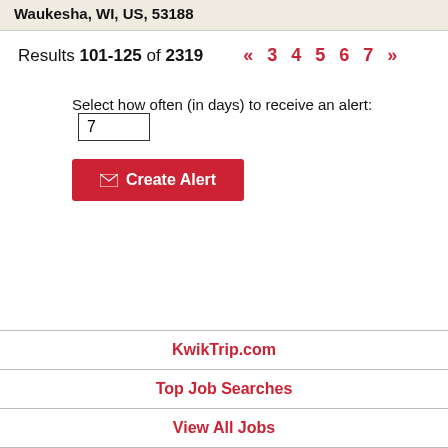Waukesha, WI, US, 53188
Results 101-125 of 2319  «  3  4  5  6  7  »
Select how often (in days) to receive an alert: 7
Create Alert
KwikTrip.com
Top Job Searches
View All Jobs